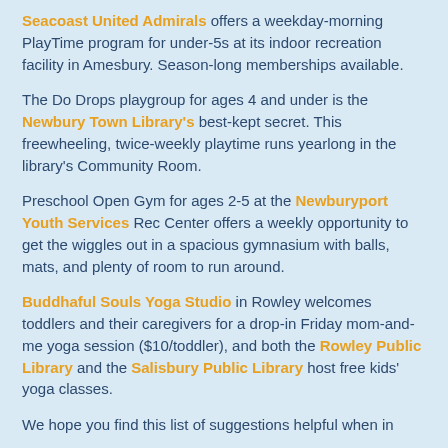Seacoast United Admirals offers a weekday-morning PlayTime program for under-5s at its indoor recreation facility in Amesbury. Season-long memberships available.
The Do Drops playgroup for ages 4 and under is the Newbury Town Library's best-kept secret. This freewheeling, twice-weekly playtime runs yearlong in the library's Community Room.
Preschool Open Gym for ages 2-5 at the Newburyport Youth Services Rec Center offers a weekly opportunity to get the wiggles out in a spacious gymnasium with balls, mats, and plenty of room to run around.
Buddhaful Souls Yoga Studio in Rowley welcomes toddlers and their caregivers for a drop-in Friday mom-and-me yoga session ($10/toddler), and both the Rowley Public Library and the Salisbury Public Library host free kids' yoga classes.
We hope you find this list of suggestions helpful when in